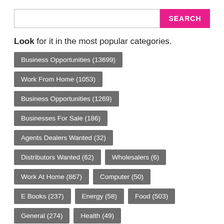SEARCH (search input bar)
Look for it in the most popular categories.
Business Opportunities (13699)
Work From Home (1053)
Business Opportunities (1269)
Businesses For Sale (186)
Agents Dealers Wanted (32)
Distributors Wanted (62)
Wholesalers (6)
Work At Home (867)
Computer (50)
E Books (237)
Energy (58)
Food (503)
General (274)
Health (49)